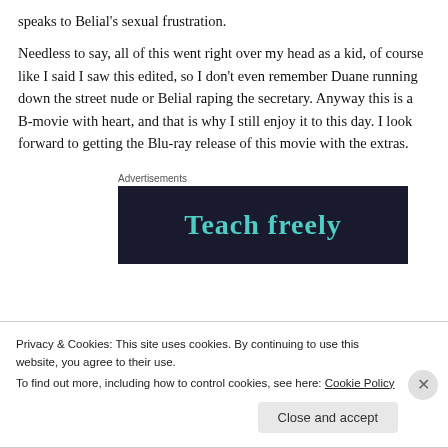speaks to Belial's sexual frustration.
Needless to say, all of this went right over my head as a kid, of course like I said I saw this edited, so I don't even remember Duane running down the street nude or Belial raping the secretary. Anyway this is a B-movie with heart, and that is why I still enjoy it to this day. I look forward to getting the Blu-ray release of this movie with the extras.
Advertisements
[Figure (screenshot): Dark-background advertisement banner with teal text reading 'Teach freely']
Privacy & Cookies: This site uses cookies. By continuing to use this website, you agree to their use.
To find out more, including how to control cookies, see here: Cookie Policy